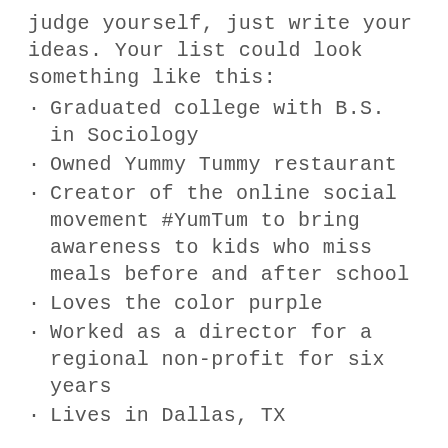judge yourself, just write your ideas. Your list could look something like this:
Graduated college with B.S. in Sociology
Owned Yummy Tummy restaurant
Creator of the online social movement #YumTum to bring awareness to kids who miss meals before and after school
Loves the color purple
Worked as a director for a regional non-profit for six years
Lives in Dallas, TX